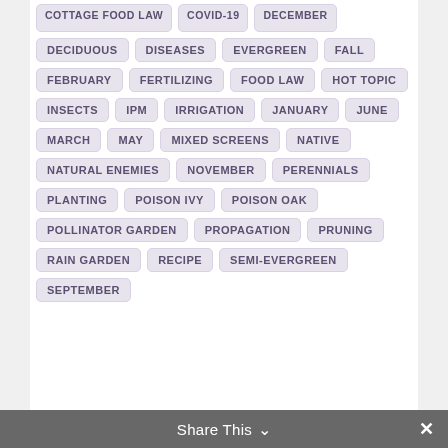COTTAGE FOOD LAW
COVID-19
DECEMBER
DECIDUOUS
DISEASES
EVERGREEN
FALL
FEBRUARY
FERTILIZING
FOOD LAW
HOT TOPIC
INSECTS
IPM
IRRIGATION
JANUARY
JUNE
MARCH
MAY
MIXED SCREENS
NATIVE
NATURAL ENEMIES
NOVEMBER
PERENNIALS
PLANTING
POISON IVY
POISON OAK
POLLINATOR GARDEN
PROPAGATION
PRUNING
RAIN GARDEN
RECIPE
SEMI-EVERGREEN
SEPTEMBER
Share This